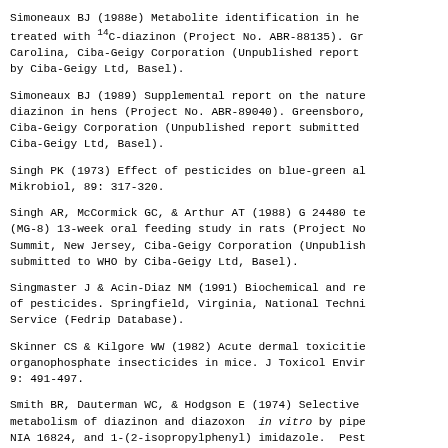Simoneaux BJ (1988e) Metabolite identification in hens treated with 14C-diazinon (Project No. ABR-88135). Greensboro, North Carolina, Ciba-Geigy Corporation (Unpublished report submitted to WHO by Ciba-Geigy Ltd, Basel).
Simoneaux BJ (1989) Supplemental report on the nature of residues of diazinon in hens (Project No. ABR-89040). Greensboro, North Carolina, Ciba-Geigy Corporation (Unpublished report submitted to WHO by Ciba-Geigy Ltd, Basel).
Singh PK (1973) Effect of pesticides on blue-green algae. Arch Mikrobiol, 89: 317-320.
Singh AR, McCormick GC, & Arthur AT (1988) G 24480 technical (MG-8) 13-week oral feeding study in rats (Project No. ...). Summit, New Jersey, Ciba-Geigy Corporation (Unpublished report submitted to WHO by Ciba-Geigy Ltd, Basel).
Singmaster J & Acin-Diaz NM (1991) Biochemical and related databases of pesticides. Springfield, Virginia, National Technical Information Service (Fedrip Database).
Skinner CS & Kilgore WW (1982) Acute dermal toxicities of organophosphate insecticides in mice. J Toxicol Environ Health, 9: 491-497.
Smith BR, Dauterman WC, & Hodgson E (1974) Selective hepatic metabolism of diazinon and diazoxon in vitro by piperonyl butoxide, NIA 16824, and 1-(2-isopropylphenyl) imidazole. Pestic Biochem Physiol, 4: 337-345.